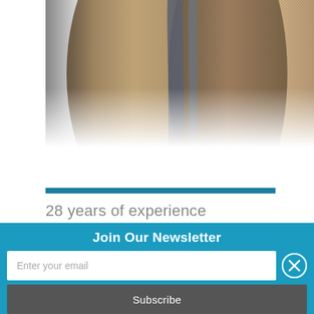[Figure (photo): Close-up photo of fabric or textile rolls with brown/tan woven texture and dark gray/blue ribbon or strap winding through them, fading to white at the bottom.]
28 years of experience
Info from the lab
Join Our Newsletter
Enter your email
Subscribe